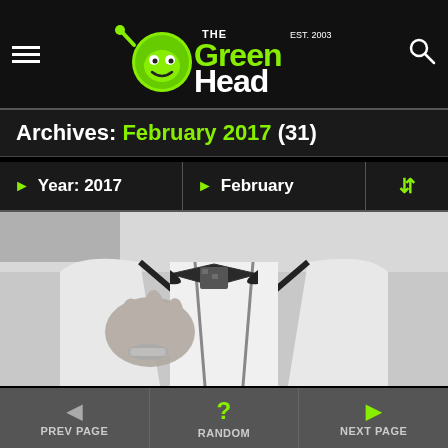The Green Head - Finds Cool New Stuff!
Archives: February 2017 (31)
Year: 2017  |  February
[Figure (photo): Black and white photo of a man in a white suit jacket with dark trim, wearing a plaid bow tie, with one hand raised showing a ring]
PREV PAGE  |  RANDOM  |  NEXT PAGE